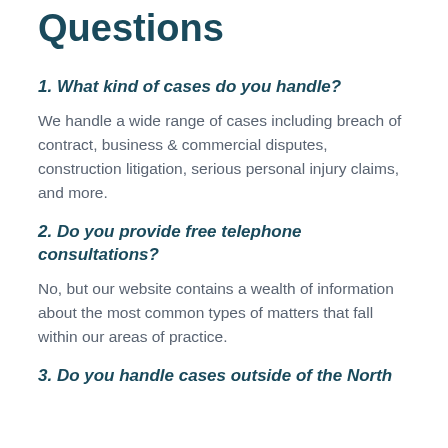Questions
1. What kind of cases do you handle?
We handle a wide range of cases including breach of contract, business & commercial disputes, construction litigation, serious personal injury claims, and more.
2. Do you provide free telephone consultations?
No, but our website contains a wealth of information about the most common types of matters that fall within our areas of practice.
3. Do you handle cases outside of the North